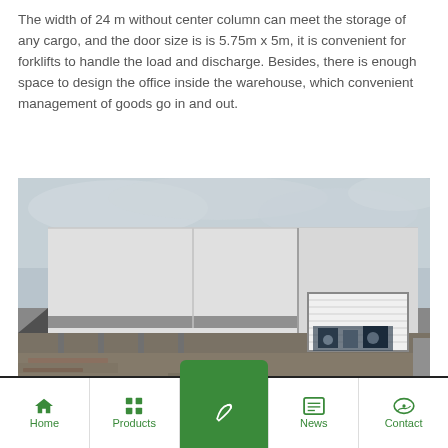The width of 24 m without center column can meet the storage of any cargo, and the door size is is 5.75m x 5m, it is convenient for forklifts to handle the load and discharge. Besides, there is enough space to design the office inside the warehouse, which convenient management of goods go in and out.
[Figure (photo): Exterior photograph of a large steel warehouse building under construction. The building has white/light grey metal cladding walls, a flat roof profile, steel columns supporting a canopy on the left side, and a roller shutter door on the right side partially open with machinery visible inside. The foreground shows unpaved ground with construction materials. Cloudy sky in the background.]
Home | Products | (active nav) | News | Contact